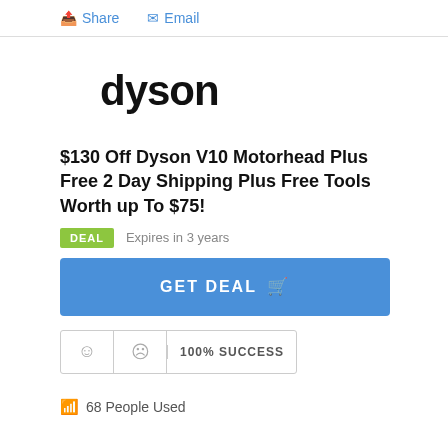Share   Email
[Figure (logo): Dyson brand logo in bold black text]
$130 Off Dyson V10 Motorhead Plus Free 2 Day Shipping Plus Free Tools Worth up To $75!
DEAL   Expires in 3 years
GET DEAL
100% SUCCESS
68 People Used